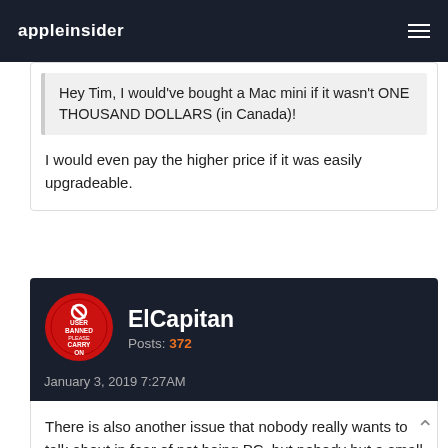appleinsider
Hey Tim, I would've bought a Mac mini if it wasn't ONE THOUSAND DOLLARS (in Canada)!
I would even pay the higher price if it was easily upgradeable.
ElCapitan
Posts: 372
January 3, 2019 7:27AM
There is also another issue that nobody really wants to talk about in fear of not being PC, but nobody but a small section of the potential customer base want to listen to a potty mouth SJW CEO going on about how their customers should live their lives and what values they should hold.
If Timmy wants to be an activist - fine - keep it at the local level where it might be relevant, but the moment he steps outside the US, his message is either irrelevant because